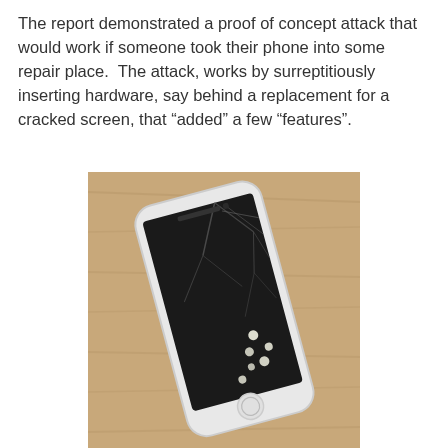The report demonstrated a proof of concept attack that would work if someone took their phone into some repair place. The attack, works by surreptitiously inserting hardware, say behind a replacement for a cracked screen, that “added” a few “features”.
[Figure (photo): A smartphone (iPhone) with a cracked screen lying on a wooden surface. The screen is dark/black with visible cracks especially in the upper right area. The phone is white/silver and has a home button at the bottom. Several bright light reflections are visible on the cracked screen.]